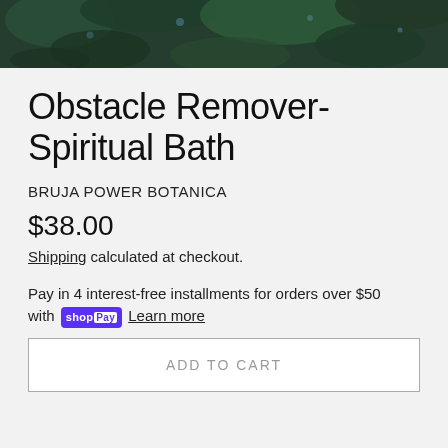[Figure (photo): Product hero image showing dark green herbs/leaves with water droplets, partially cropped at top]
Obstacle Remover- Spiritual Bath
BRUJA POWER BOTANICA
$38.00
Shipping calculated at checkout.
Pay in 4 interest-free installments for orders over $50 with shop Pay Learn more
ADD TO CART